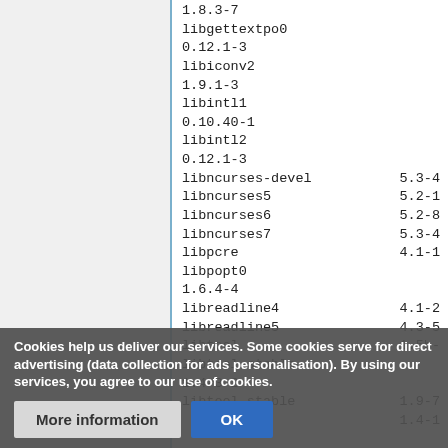1.8.3-7
libgettextpo0
0.12.1-3
libiconv2
1.9.1-3
libintl1
0.10.40-1
libintl2
0.12.1-3
libncurses-devel   5.3-4
libncurses5        5.2-1
libncurses6        5.2-8
libncurses7        5.3-4
libpcre            4.1-1
libpopt0
1.6.4-4
libreadline4       4.1-2
libreadline5       4.3-5
libtool            1.5b-
libtool-stable
1.4-3-2
libtool-stable     1.9-7
                   1.4-1
Cookies help us deliver our services. Some cookies serve for direct advertising (data collection for ads personalisation). By using our services, you agree to our use of cookies.